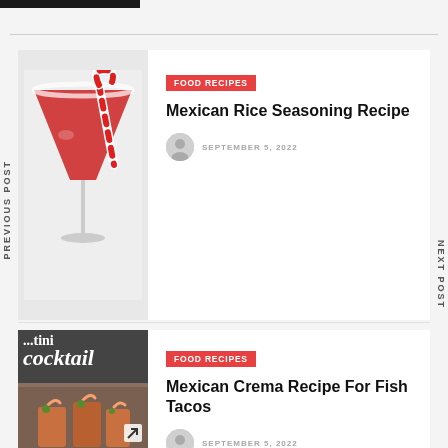[Figure (photo): Dark image strip at top left]
PREVIOUS POST
NEXT POST
[Figure (photo): Christmas martini with candy cane in a sugar-rimmed cocktail glass]
FOOD RECIPES
Mexican Rice Seasoning Recipe
SEPTEMBER 5, 2022
[Figure (photo): Cocktail text overlay and shrimp cocktail cups]
FOOD RECIPES
Mexican Crema Recipe For Fish Tacos
SEPTEMBER 5, 2022